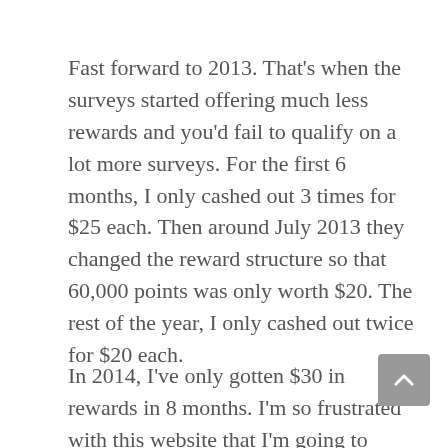Fast forward to 2013. That's when the surveys started offering much less rewards and you'd fail to qualify on a lot more surveys. For the first 6 months, I only cashed out 3 times for $25 each. Then around July 2013 they changed the reward structure so that 60,000 points was only worth $20. The rest of the year, I only cashed out twice for $20 each.
In 2014, I've only gotten $30 in rewards in 8 months. I'm so frustrated with this website that I'm going to cancel my account. I literally get 5-10 emails a day, and all of the surveys…